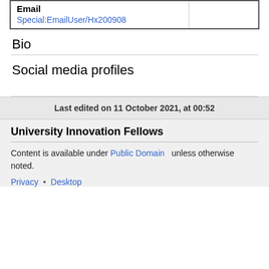| Email |  |
| --- | --- |
| Special:EmailUser/Hx200908 |  |
Bio
Social media profiles
Last edited on 11 October 2021, at 00:52
University Innovation Fellows
Content is available under Public Domain unless otherwise noted.
Privacy • Desktop